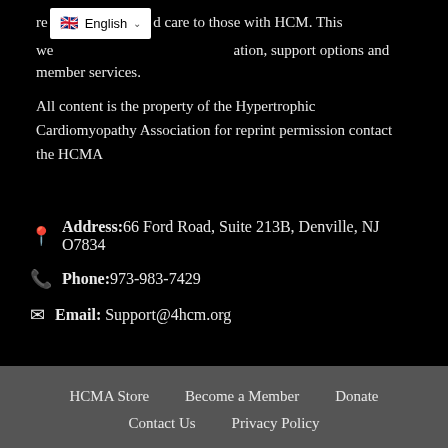re... d care to those with HCM. This we... ation, support options and member services.
All content is the property of the Hypertrophic Cardiomyopathy Association for reprint permission contact the HCMA
Address: 66 Ford Road, Suite 213B, Denville, NJ O7834
Phone: 973-983-7429
Email: Support@4hcm.org
HCMA Store   Become a Member   Donate   Contact Us   Privacy Policy